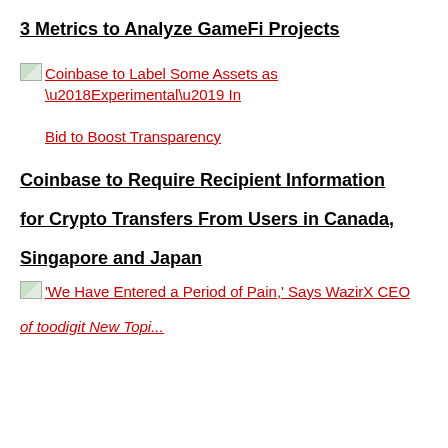3 Metrics to Analyze GameFi Projects
Coinbase to Label Some Assets as ‘Experimental’ In Bid to Boost Transparency
Coinbase to Require Recipient Information for Crypto Transfers From Users in Canada, Singapore and Japan
‘We Have Entered a Period of Pain,’ Says WazirX CEO